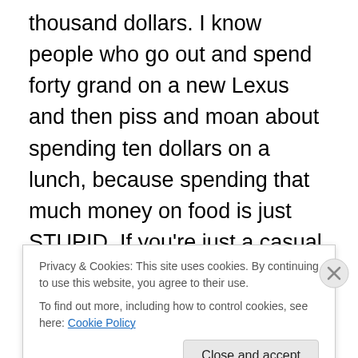thousand dollars. I know people who go out and spend forty grand on a new Lexus and then piss and moan about spending ten dollars on a lunch, because spending that much money on food is just STUPID. If you're just a casual diner who doesn't branch out much and chain restaurants are your thing because they are consistent and familiar, you'll get some decent food and maybe awesome service from time to time, but the world of serious dining is probably not for you. And that's cool man, everyone has their thing they love….cars, guns, scrapbooking, stamp collecting, Chiefs season tickets...
Privacy & Cookies: This site uses cookies. By continuing to use this website, you agree to their use.
To find out more, including how to control cookies, see here: Cookie Policy